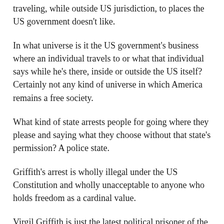traveling, while outside US jurisdiction, to places the US government doesn't like.
In what universe is it the US government's business where an individual travels to or what that individual says while he's there, inside or outside the US itself? Certainly not any kind of universe in which America remains a free society.
What kind of state arrests people for going where they please and saying what they choose without that state's permission? A police state.
Griffith's arrest is wholly illegal under the US Constitution and wholly unacceptable to anyone who holds freedom as a cardinal value.
Virgil Griffith is just the latest political prisoner of the US government to come to public notice.